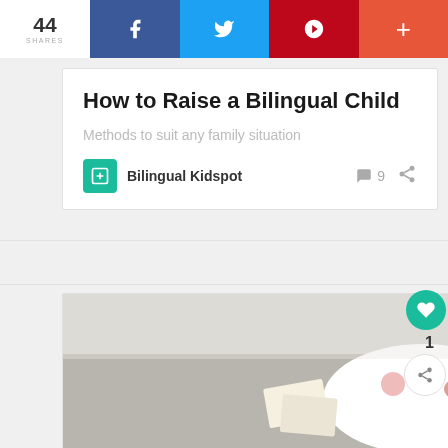44 SHARES — social share bar with Facebook, Twitter, Pinterest, and more buttons
How to Raise a Bilingual Child
Methods to suit any family situation
Bilingual Kidspot — 9 comments
[Figure (photo): Baby lying on a couch with a black stuffed bear and books, wearing a floral outfit]
WHAT'S NEXT → A Multilingual Travel Lesso...